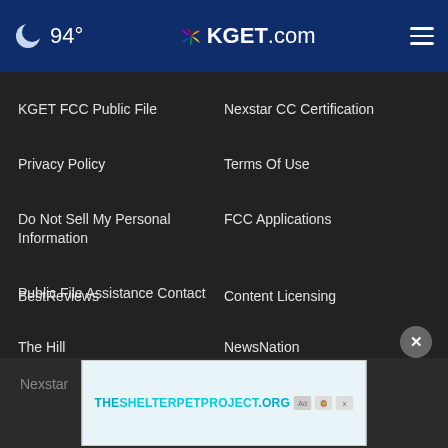🌙 94° KGET.com
KGET FCC Public File
Nexstar CC Certification
Privacy Policy
Terms Of Use
Do Not Sell My Personal Information
FCC Applications
Public File Assistance Contact
The Hill
NewsNation
BestReviews
Content Licensing
Nexstar
[Figure (screenshot): Advertisement banner: THESHELTERPETPROJECT.ORG with ad badge icons]